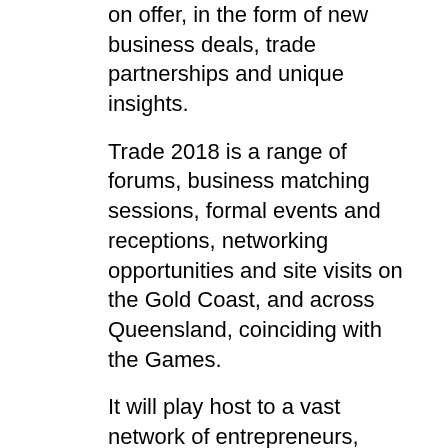on offer, in the form of new business deals, trade partnerships and unique insights.
Trade 2018 is a range of forums, business matching sessions, formal events and receptions, networking opportunities and site visits on the Gold Coast, and across Queensland, coinciding with the Games.
It will play host to a vast network of entrepreneurs, investors and exporters from at least 40 different countries in Asia, Africa, South America, North America, Europe and, of course, Australia.
The program will begin with The Commonwealth – Business Advantage and Opportunities event on April 4 (coinciding with the opening ceremony), when The Economist's executive editor Daniel Franklin is due to explore the Commonwealth's key business prospects, challenges and future trends and forecasts.
“Changes in politics and technology make this a